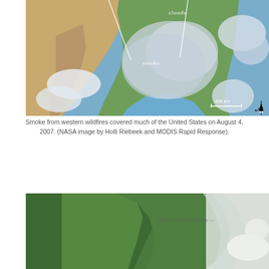[Figure (photo): Satellite image of the United States showing smoke from western wildfires covering much of the country on August 4, 2007. Labels on the image indicate 'clouds' and 'smoke'. A scale bar shows 400 km and a north arrow is visible in the bottom right corner.]
Smoke from western wildfires covered much of the United States on August 4, 2007. (NASA image by Holli Riebeek and MODIS Rapid Response).
[Figure (photo): Satellite image showing a coastal/forested area with the label 'edge of satellite swath' indicated by a line on the right side of the image, where the green forested land meets a lighter hazy area.]